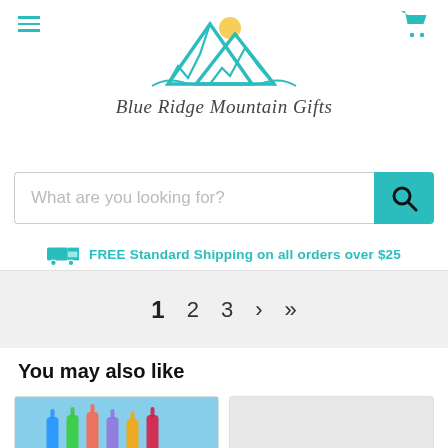[Figure (logo): Blue Ridge Mountain Gifts logo with teal mountain peaks and sun, with cursive/script text reading 'Blue Ridge Mountain Gifts']
What are you looking for?
FREE Standard Shipping on all orders over $25
1  2  3  ›  »|
You may also like
[Figure (photo): Colorful glass bottle wind chimes hanging against a blue sky background]
[Figure (photo): Light grey placeholder product image]